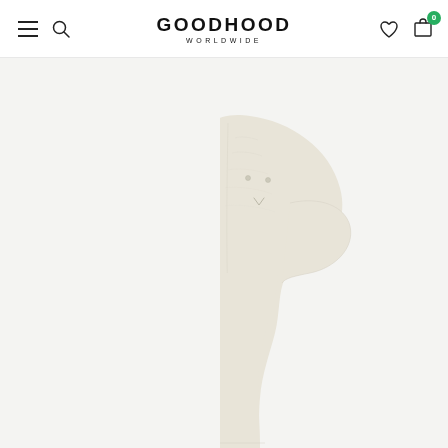GOODHOOD WORLDWIDE — navigation header with hamburger menu, search, wishlist heart icon, and shopping bag with badge 0
[Figure (photo): A cream/off-white leather sculptural object shaped like an abstract human figure or totem, with two small circular dot eyes and a small v-shaped mouth impressed into the leather surface. The object is photographed against a very light grey/white background. Only the right half of the object is visible, cropped at center.]